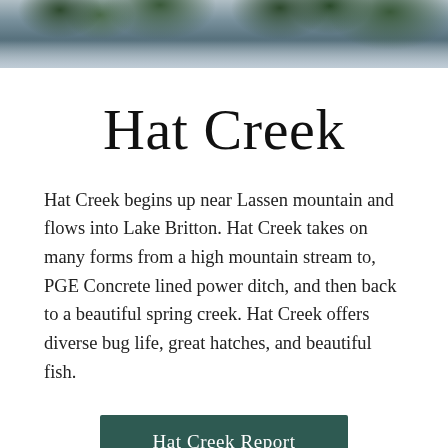[Figure (photo): Landscape photo of a creek or lake with trees reflected in the water, muted blue-green tones, taken from water level looking toward tree line.]
Hat Creek
Hat Creek begins up near Lassen mountain and flows into Lake Britton. Hat Creek takes on many forms from a high mountain stream to, PGE Concrete lined power ditch, and then back to a beautiful spring creek. Hat Creek offers diverse bug life, great hatches, and beautiful fish.
Hat Creek Report